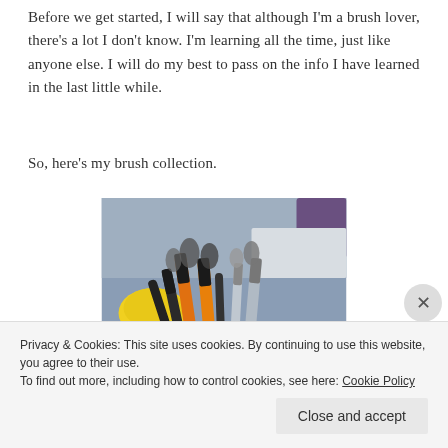Before we get started, I will say that although I'm a brush lover, there's a lot I don't know. I'm learning all the time, just like anyone else. I will do my best to pass on the info I have learned in the last little while.
So, here's my brush collection.
[Figure (photo): A collection of makeup brushes with orange and black handles laid out on a surface, with a yellow item visible on the left side. Photo taken from a slightly elevated angle.]
Privacy & Cookies: This site uses cookies. By continuing to use this website, you agree to their use.
To find out more, including how to control cookies, see here: Cookie Policy